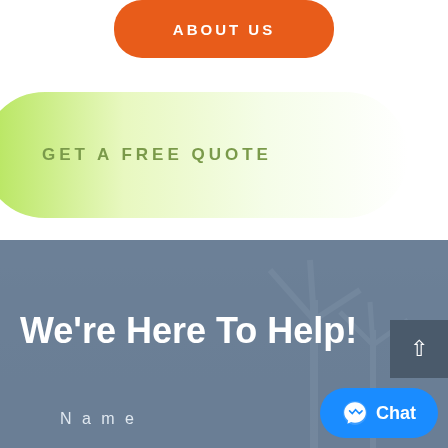[Figure (screenshot): Orange rounded button with text ABOUT US]
[Figure (screenshot): Green gradient rounded pill button with text GET A FREE QUOTE]
[Figure (photo): Dark blue-gray background section with wind turbine silhouette]
We're Here To Help!
Name
[Figure (screenshot): Blue chat button with Messenger icon and Chat text]